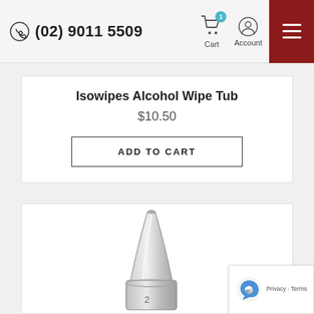(02) 9011 5509 | Cart | Account
Isowipes Alcohol Wipe Tub
$10.50
ADD TO CART
[Figure (photo): Close-up of a metallic conical nozzle or tip component, silver colored, shown against a white background]